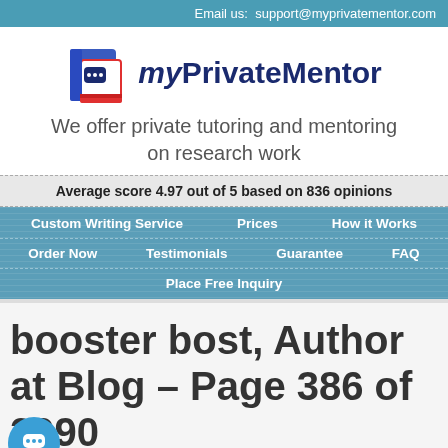Email us:  support@myprivatementor.com
[Figure (logo): myPrivateMentor logo with book icon and brand name]
We offer private tutoring and mentoring on research work
Average score 4.97 out of 5 based on 836 opinions
Custom Writing Service | Prices | How it Works | Order Now | Testimonials | Guarantee | FAQ | Place Free Inquiry
booster bost, Author at Blog – Page 386 of 2090